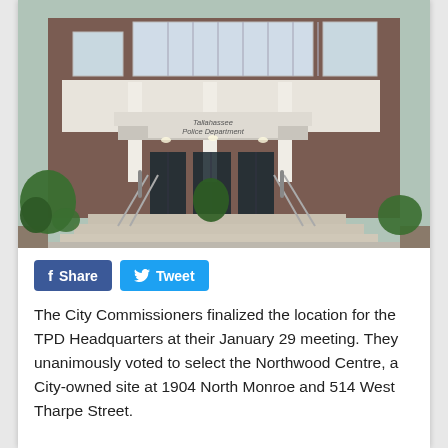[Figure (photo): Exterior photo of the Tallahassee Police Department building entrance, showing brick facade, white columns, signage reading 'Tallahassee Police Department', glass doors, steps, and landscaping.]
Share  Tweet
The City Commissioners finalized the location for the TPD Headquarters at their January 29 meeting. They unanimously voted to select the Northwood Centre, a City-owned site at 1904 North Monroe and 514 West Tharpe Street.